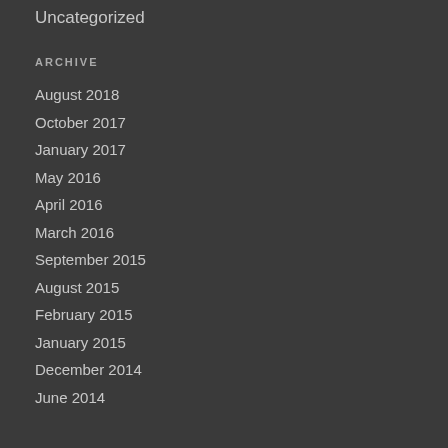Uncategorized
ARCHIVE
August 2018
October 2017
January 2017
May 2016
April 2016
March 2016
September 2015
August 2015
February 2015
January 2015
December 2014
June 2014